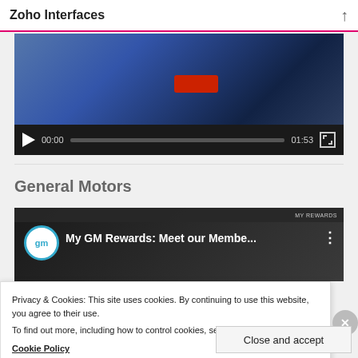Zoho Interfaces
[Figure (screenshot): Video player showing a person in a blue shirt with a red play button overlay, and a video control bar showing 00:00 / 01:53 with progress bar and fullscreen button]
General Motors
[Figure (screenshot): YouTube-style video thumbnail for 'My GM Rewards: Meet our Membe...' with GM logo and brand icons bar]
Privacy & Cookies: This site uses cookies. By continuing to use this website, you agree to their use.
To find out more, including how to control cookies, see here:
Cookie Policy
Close and accept